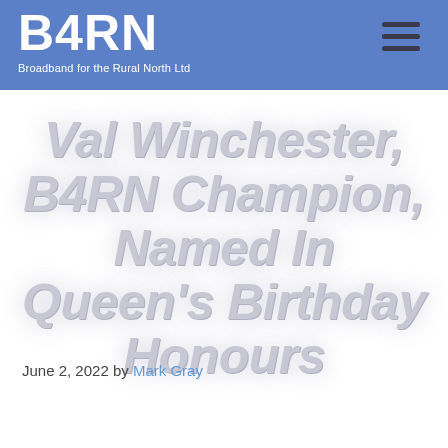B4RN Broadband for the Rural North Ltd
Val Winchester, B4RN Champion, Named In Queen's Birthday Honours
June 2, 2022 by Mark Gray